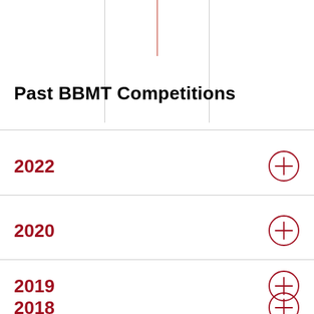Past BBMT Competitions
2022
2020
2019
2018